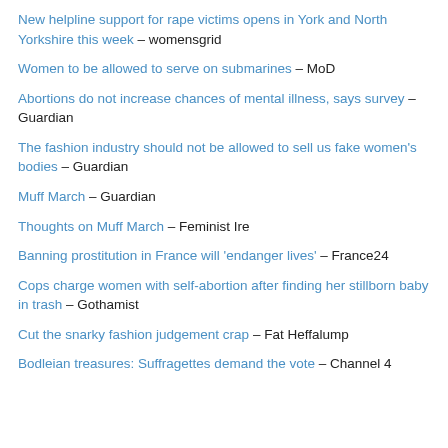New helpline support for rape victims opens in York and North Yorkshire this week – womensgrid
Women to be allowed to serve on submarines – MoD
Abortions do not increase chances of mental illness, says survey – Guardian
The fashion industry should not be allowed to sell us fake women's bodies – Guardian
Muff March – Guardian
Thoughts on Muff March – Feminist Ire
Banning prostitution in France will 'endanger lives' – France24
Cops charge women with self-abortion after finding her stillborn baby in trash – Gothamist
Cut the snarky fashion judgement crap – Fat Heffalump
Bodleian treasures: Suffragettes demand the vote – Channel 4